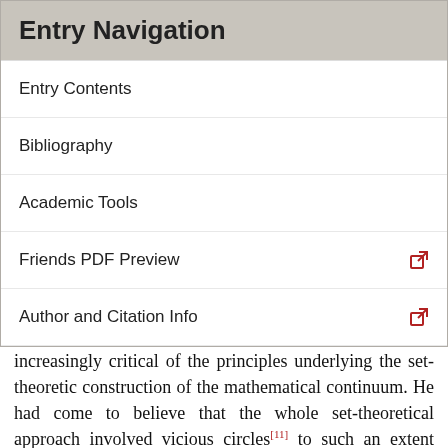Entry Navigation
Entry Contents
Bibliography
Academic Tools
Friends PDF Preview
Author and Citation Info
logically sound formulation. Weyl had become increasingly critical of the principles underlying the set-theoretic construction of the mathematical continuum. He had come to believe that the whole set-theoretical approach involved vicious circles[11] to such an extent that, as he says, “every cell (so to speak) of this mighty organism is permeated by contradiction.” In Das Kontinuum he tries to overcome this by providing analysis with a predicative formulation—not, as Russell and Whitehead had attempted, by introducing a hierarchy of logically ramified types, which Weyl seems to have regarded as excessively complicated—but rather by